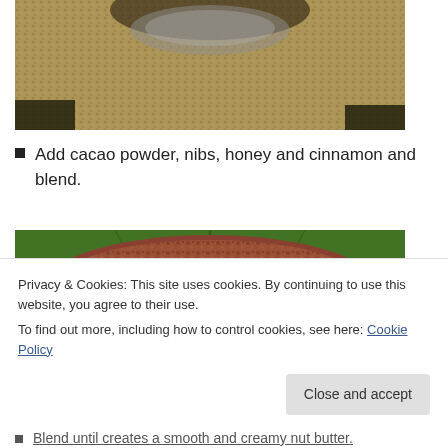[Figure (photo): Close-up photo of ground spice or powder with a metal scoop/bowl, viewed from above.]
Add cacao powder, nibs, honey and cinnamon and blend.
[Figure (photo): Photo of a bag of organic cacao or similar product on a green leaf background, with an orange label reading ORGANIC.]
Privacy & Cookies: This site uses cookies. By continuing to use this website, you agree to their use.
To find out more, including how to control cookies, see here: Cookie Policy
Blend until creates a smooth and creamy nut butter.